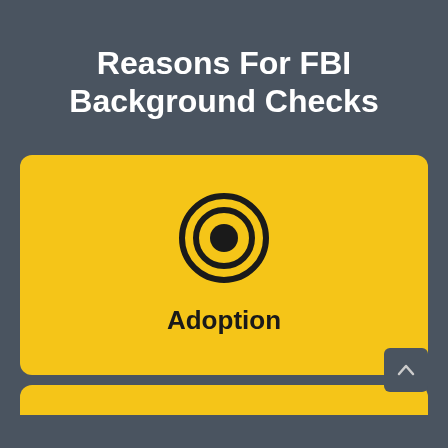Reasons For FBI Background Checks
[Figure (infographic): Yellow card with a bullseye/target icon and the label 'Adoption' underneath, representing one reason for FBI background checks.]
[Figure (infographic): Partially visible yellow card at the bottom of the page, suggesting more items in the list.]